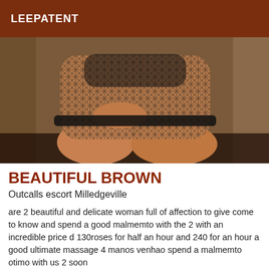LEEPATENT
[Figure (photo): Close-up photo of a woman wearing a black fishnet bodysuit, posing with legs bent, showing thighs and midsection.]
BEAUTIFUL BROWN
Outcalls escort Milledgeville
are 2 beautiful and delicate woman full of affection to give come to know and spend a good malmemto with the 2 with an incredible price d 130roses for half an hour and 240 for an hour a good ultimate massage 4 manos venhao spend a malmemto otimo with us 2 soon